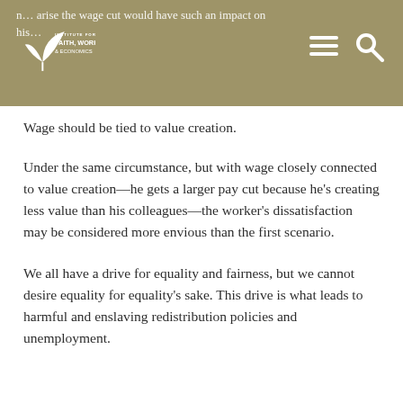n… arise the wage cut would have such an impact on his…
Wage should be tied to value creation.
Under the same circumstance, but with wage closely connected to value creation—he gets a larger pay cut because he's creating less value than his colleagues—the worker's dissatisfaction may be considered more envious than the first scenario.
We all have a drive for equality and fairness, but we cannot desire equality for equality's sake. This drive is what leads to harmful and enslaving redistribution policies and unemployment.